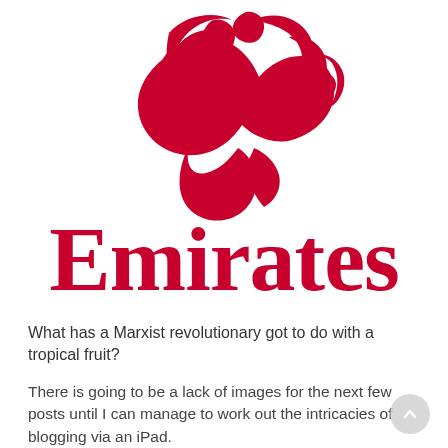[Figure (logo): Emirates airline logo: Arabic calligraphy in red above the word 'Emirates' in large red bold serif/display font on white background]
What has a Marxist revolutionary got to do with a tropical fruit?
There is going to be a lack of images for the next few posts until I can manage to work out the intricacies of blogging via an iPad.
Just imagine some suitable images in the meantime. Thinking